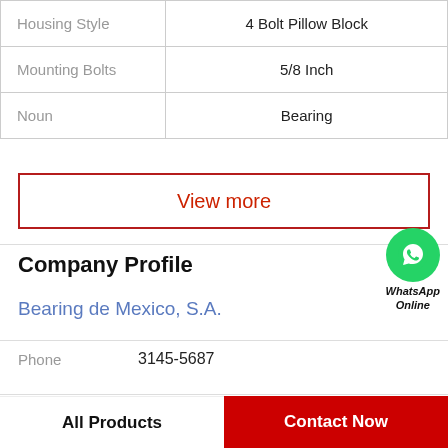| Property | Value |
| --- | --- |
| Housing Style | 4 Bolt Pillow Block |
| Mounting Bolts | 5/8 Inch |
| Noun | Bearing |
View more
Company Profile
Bearing de Mexico, S.A.
Phone	3145-5687
View more
All Products	Contact Now